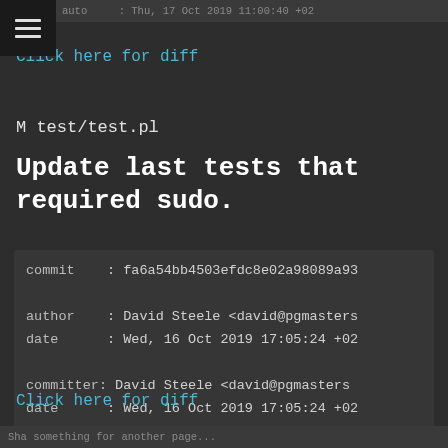auto    : Thu, 17 Oct 2019 11:00:40 +02
Click here for diff
M test/test.pl
Update last tests that required sudo.
commit    : fa6a54bb4503efdc8e02a98089a93
author    : David Steele <david@pgmasters
date      : Wed, 16 Oct 2019 17:05:24 +02
committer: David Steele <david@pgmasters
date      : Wed, 16 Oct 2019 17:05:24 +02
Click here for diff